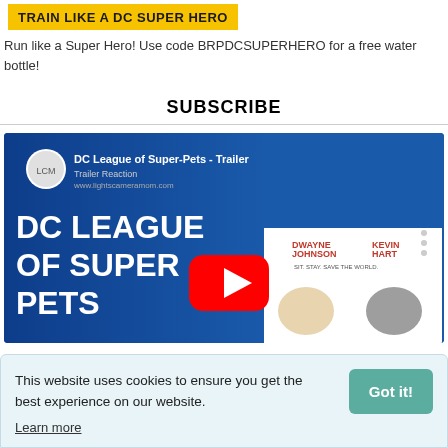[Figure (other): Yellow banner with bold uppercase text: TRAIN LIKE A DC SUPER HERO]
Run like a Super Hero! Use code BRPDCSUPERHERO for a free water bottle!
SUBSCRIBE
[Figure (screenshot): YouTube video thumbnail for DC League of Super-Pets - Trailer Reaction on lightscameramom.com. Shows DC League of Super Pets logo, YouTube play button, and movie characters (Dwayne Johnson, Kevin Hart). Shows www.lightscameramom.com watermark.]
This website uses cookies to ensure you get the best experience on our website.
Learn more